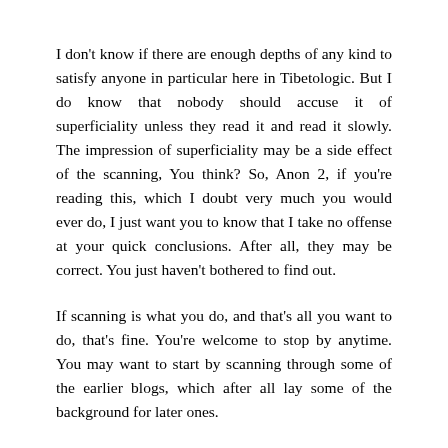I don't know if there are enough depths of any kind to satisfy anyone in particular here in Tibetologic. But I do know that nobody should accuse it of superficiality unless they read it and read it slowly. The impression of superficiality may be a side effect of the scanning, You think? So, Anon 2, if you're reading this, which I doubt very much you would ever do, I just want you to know that I take no offense at your quick conclusions. After all, they may be correct. You just haven't bothered to find out.
If scanning is what you do, and that's all you want to do, that's fine. You're welcome to stop by anytime. You may want to start by scanning through some of the earlier blogs, which after all lay some of the background for later ones.
And for myself, I may have a thing or two to learn about writing for people who do this thing called scanning, if that's what blogging is all about. But really, I write because I like to, and because I feel like I have some stuff to say to some people some of the time. It doesn't have to be very many, and you (Anon 2) don't need to be one of them. What